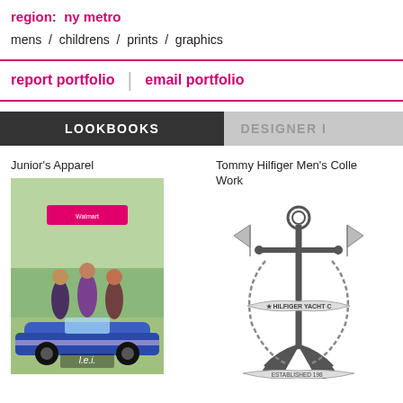region:  ny metro
mens  /  childrens  /  prints  /  graphics
report portfolio  |  email portfolio
LOOKBOOKS
DESIGNER I...
Junior's Apparel
[Figure (photo): Three young women standing on a classic car holding a Walmart banner, LEI brand lookbook cover]
Tommy Hilfiger Men's Colle... Work
[Figure (logo): Hilfiger Yacht Club anchor logo illustration, established 1985]